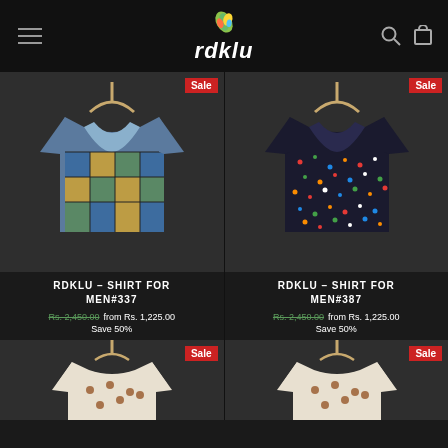rdklu
[Figure (photo): RDKLU printed patchwork shirt hanging on hanger, dark background, Sale badge]
[Figure (photo): RDKLU colorful dotted/floral print shirt hanging on hanger, dark background, Sale badge]
RDKLU - SHIRT FOR MEN#337
Rs. 2,450.00  from Rs. 1,225.00
Save 50%
RDKLU - SHIRT FOR MEN#387
Rs. 2,450.00  from Rs. 1,225.00
Save 50%
[Figure (photo): Partial view of white shirt with prints on hanger, dark background, Sale badge]
[Figure (photo): Partial view of white shirt with prints on hanger, dark background, Sale badge]